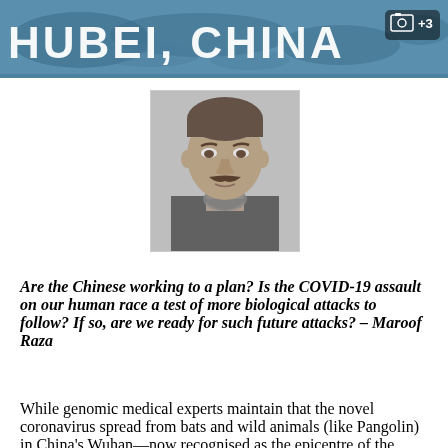[Figure (photo): Banner image with text 'HUBEI, CHINA' on a blue-tinted map background with a camera icon showing +3 photos]
[Figure (photo): Black and white portrait photo of a middle-aged man with a mustache wearing a suit and scarf]
Are the Chinese working to a plan? Is the COVID-19 assault on our human race a test of more biological attacks to follow? If so, are we ready for such future attacks? – Maroof Raza
While genomic medical experts maintain that the novel coronavirus spread from bats and wild animals (like Pangolin) in China's Wuhan—now recognised as the epicentre of the COVID-19 epidemic—few of us know that the city also hosts China's only and the highest rated level